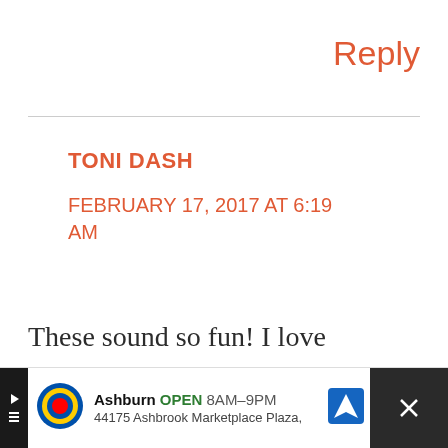Reply
TONI DASH
FEBRUARY 17, 2017 AT 6:19 AM
These sound so fun! I love these ideas and I'm certain that my kids will love it!
[Figure (screenshot): Ad bar at bottom: Lidl store ad showing Ashburn OPEN 8AM-9PM, 44175 Ashbrook Marketplace Plaza, with navigation icon and close button]